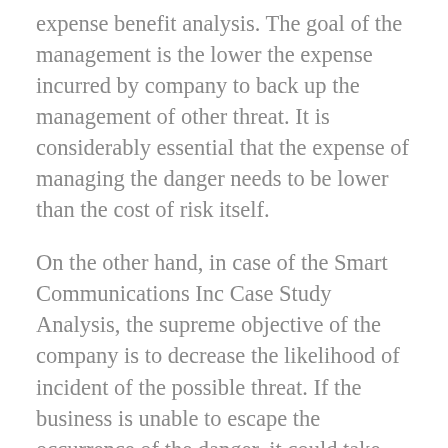expense benefit analysis. The goal of the management is the lower the expense incurred by company to back up the management of other threat. It is considerably essential that the expense of managing the danger needs to be lower than the cost of risk itself.
On the other hand, in case of the Smart Communications Inc Case Study Analysis, the supreme objective of the company is to decrease the likelihood of incident of the possible threat. If the business is unable to escape the occurrence of the danger, it could take measures for the function of decreasing the adverse effect of such dangers so that the expense referring to the effects of danger and the loses would be minimized to some extent. Usually, the effects of the Smart Communications Inc Case Study Help could not be measured in